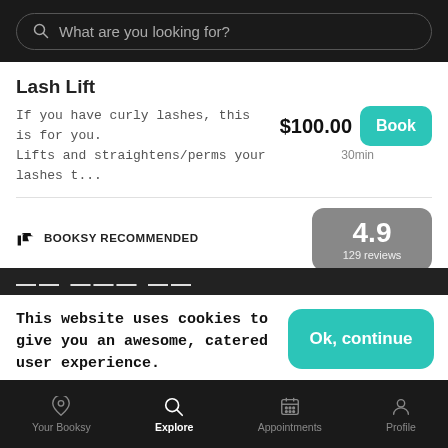What are you looking for?
Lash Lift
If you have curly lashes, this is for you. Lifts and straightens/perms your lashes t...
$100.00 30min
BOOKSY RECOMMENDED
4.9
129 reviews
This website uses cookies to give you an awesome, catered user experience.
Continuing on after seeing this message means that you're cool with that.
Ok, continue
Your Booksy   Explore   Appointments   Profile